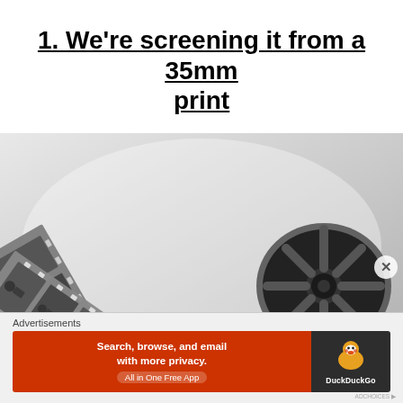1. We're screening it from a 35mm print
[Figure (photo): Close-up photograph of 35mm film strip unrolled from a film reel, showing black and white film frames with sprocket holes, on a white background]
Advertisements
[Figure (other): DuckDuckGo advertisement banner: orange left side with text 'Search, browse, and email with more privacy. All in One Free App', and dark right side with DuckDuckGo duck logo and brand name]